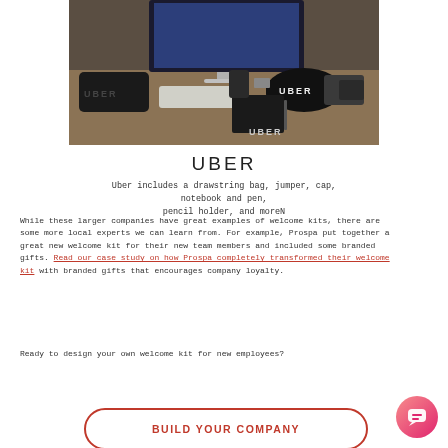[Figure (photo): Photo of Uber branded merchandise on a desk including a drawstring bag, jumper, cap, notebook, pen, pencil holder, and more. An iMac computer is visible in the background.]
UBER
Uber includes a drawstring bag, jumper, cap, notebook and pen, pencil holder, and moreN
While these larger companies have great examples of welcome kits, there are some more local experts we can learn from. For example, Prospa put together a great new welcome kit for their new team members and included some branded gifts. Read our case study on how Prospa completely transformed their welcome kit with branded gifts that encourages company loyalty.
Ready to design your own welcome kit for new employees?
BUILD YOUR COMPANY